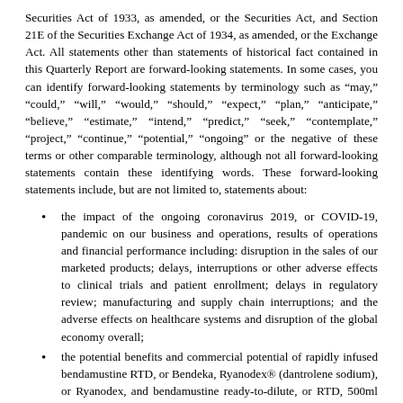Securities Act of 1933, as amended, or the Securities Act, and Section 21E of the Securities Exchange Act of 1934, as amended, or the Exchange Act. All statements other than statements of historical fact contained in this Quarterly Report are forward-looking statements. In some cases, you can identify forward-looking statements by terminology such as “may,” “could,” “will,” “would,” “should,” “expect,” “plan,” “anticipate,” “believe,” “estimate,” “intend,” “predict,” “seek,” “contemplat e,” “project,” “continue,” “potential,” “ongoing” or the negative of these terms or other comparable terminology, although not all forward-looking statements contain these identifying words. These forward-looking statements include, but are not limited to, statements about:
the impact of the ongoing coronavirus 2019, or COVID-19, pandemic on our business and operations, results of operations and financial performance including: disruption in the sales of our marketed products; delays, interruptions or other adverse effects to clinical trials and patient enrollment; delays in regulatory review; manufacturing and supply chain interruptions; and the adverse effects on healthcare systems and disruption of the global economy overall;
the potential benefits and commercial potential of rapidly infused bendamustine RTD, or Bendeka, Ryanodex® (dantrolene sodium), or Ryanodex, and bendamustine ready-to-dilute, or RTD, 500ml solution, or Belrapzo for approved indications and any expanded uses;
the commercial potential of additional indications for our products;
sales of our products in various markets worldwide, pricing for our products, level of insurance coverage and reimbursement for our